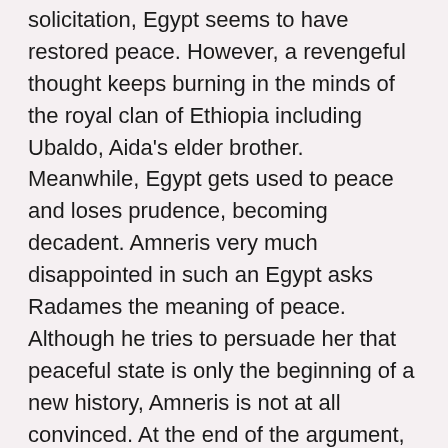solicitation, Egypt seems to have restored peace. However, a revengeful thought keeps burning in the minds of the royal clan of Ethiopia including Ubaldo, Aida's elder brother. Meanwhile, Egypt gets used to peace and loses prudence, becoming decadent. Amneris very much disappointed in such an Egypt asks Radames the meaning of peace. Although he tries to persuade her that peaceful state is only the beginning of a new history, Amneris is not at all convinced. At the end of the argument, lost in excitement, Amneris gives voice to the suspicion haunting her for some time. Whom does he really loves? Radames at last confesses that he loves Aida. Carried away by jealousy, Amneris threatens that she will do anything in order to gain his love and goes away.
When Aida enters for a tryst with Radames, Amonasro appears before her. He preys on her feelings for Radames, forcing her to agree to ask Radames when Pharaoh is least guarded. Amonasro wants to take bloody vengeance on Pharaoh. Before her departure, she is asked to bring